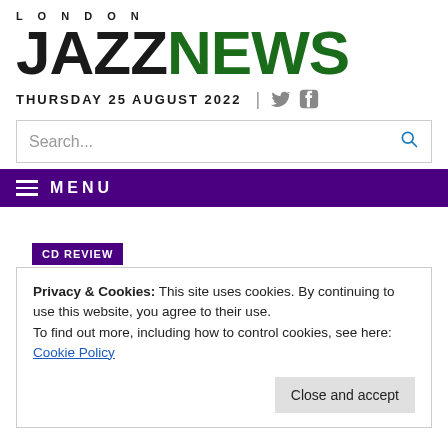LONDON JAZZNEWS
THURSDAY 25 AUGUST 2022
Search...
MENU
CD REVIEW
Privacy & Cookies: This site uses cookies. By continuing to use this website, you agree to their use.
To find out more, including how to control cookies, see here: Cookie Policy
Close and accept